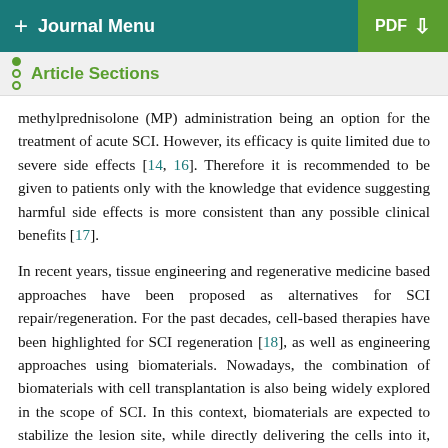+ Journal Menu   PDF ↓
Article Sections
methylprednisolone (MP) administration being an option for the treatment of acute SCI. However, its efficacy is quite limited due to severe side effects [14, 16]. Therefore it is recommended to be given to patients only with the knowledge that evidence suggesting harmful side effects is more consistent than any possible clinical benefits [17].
In recent years, tissue engineering and regenerative medicine based approaches have been proposed as alternatives for SCI repair/regeneration. For the past decades, cell-based therapies have been highlighted for SCI regeneration [18], as well as engineering approaches using biomaterials. Nowadays, the combination of biomaterials with cell transplantation is also being widely explored in the scope of SCI. In this context, biomaterials are expected to stabilize the lesion site, while directly delivering the cells into it, and provide an adequate environment for the regeneration of the injured tissues. Several cell types and biomaterials have been suggested for the